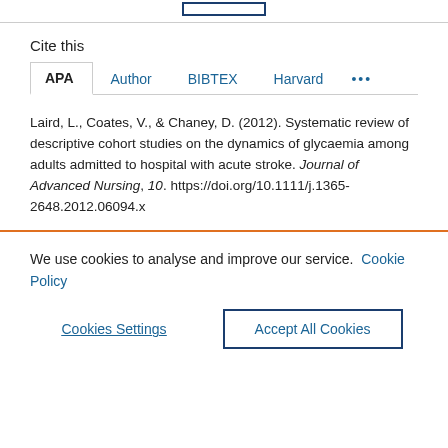Cite this
APA   Author   BIBTEX   Harvard   ...
Laird, L., Coates, V., & Chaney, D. (2012). Systematic review of descriptive cohort studies on the dynamics of glycaemia among adults admitted to hospital with acute stroke. Journal of Advanced Nursing, 10. https://doi.org/10.1111/j.1365-2648.2012.06094.x
We use cookies to analyse and improve our service. Cookie Policy
Cookies Settings
Accept All Cookies